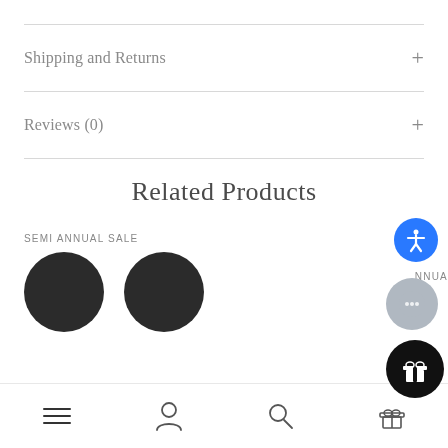Shipping and Returns
Reviews (0)
Related Products
SEMI ANNUAL SALE
[Figure (photo): Two dark circular product thumbnails partially visible at the bottom of the page]
[Figure (screenshot): Bottom navigation bar with hamburger menu, person icon, and search icon]